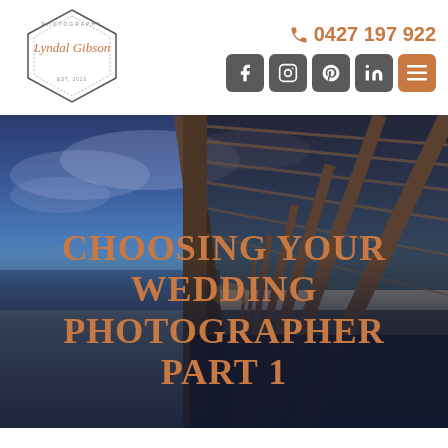[Figure (logo): Lyndal Gibson Photography logo — script text inside a hexagon outline]
0427 197 922
[Figure (infographic): Social media icon buttons: Facebook, Instagram, Pinterest, LinkedIn, Menu (orange)]
[Figure (photo): Atmospheric photo taken under a wooden pier/jetty at dusk, looking along the length of the pier toward a distant vanishing point, with blue cloudy sky and calm sea water visible to the left]
CHOOSING YOUR WEDDING PHOTOGRAPHER PART 1